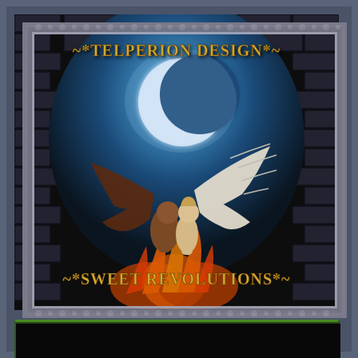[Figure (illustration): Book cover or promotional graphic for 'Telperion Design - Sweet Revolutions'. Features an ornate dark decorative frame with a central image showing a demon figure with dark bat wings and an angel figure with white feathered wings embracing under a crescent moon, set against a stone brick wall background with blue sky and flames at the bottom. Gold text at top reads '~*TELPERION DESIGN*~' and at bottom '~*SWEET REVOLUTIONS*~'.]
[Figure (other): Dark bottom panel with green border, partially visible, appears to be another image or section below the main frame.]